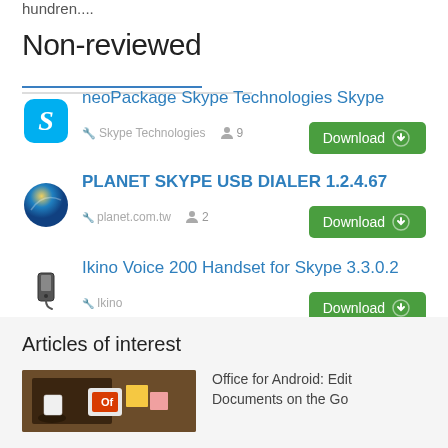hundren....
Non-reviewed
neoPackage Skype Technologies Skype — Skype Technologies, 9 users — Download
PLANET SKYPE USB DIALER 1.2.4.67 — planet.com.tw, 2 users — Download
Ikino Voice 200 Handset for Skype 3.3.0.2 — Ikino — Download
Articles of interest
Office for Android: Edit Documents on the Go